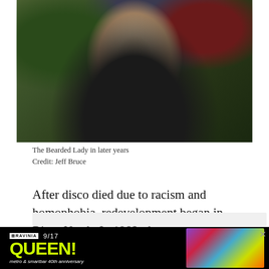[Figure (photo): Photo of the Bearded Lady, an older person with large glasses and a long white beard, wearing a dark jacket with pins/badges, seated in front of foliage and flowers.]
The Bearded Lady in later years
Credit: Jeff Bruce
After disco died due to racism and homophobia, redevelopment began in River North. In 1982, the newspaper GayLife eulogized the Bistro as BL's home “succumbed to the wrecking ball and ‘progress.’” There remains nothing quite like the Bistro today.
[Figure (photo): Advertisement for Ravinia 9/17 QUEEN! metro & smartbar 40th anniversary, with colorful psychedelic imagery.]